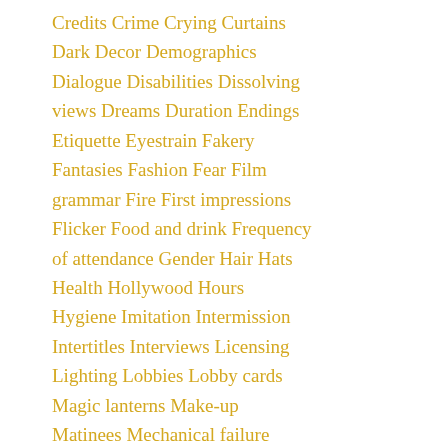Credits Crime Crying Curtains
Dark Decor Demographics
Dialogue Disabilities Dissolving
views Dreams Duration Endings
Etiquette Eyestrain Fakery
Fantasies Fashion Fear Film
grammar Fire First impressions
Flicker Food and drink Frequency
of attendance Gender Hair Hats
Health Hollywood Hours
Hygiene Imitation Intermission
Intertitles Interviews Licensing
Lighting Lobbies Lobby cards
Magic lanterns Make-up
Matinees Mechanical failure
Mechanical pictures
Misbehaviour Molestation Money